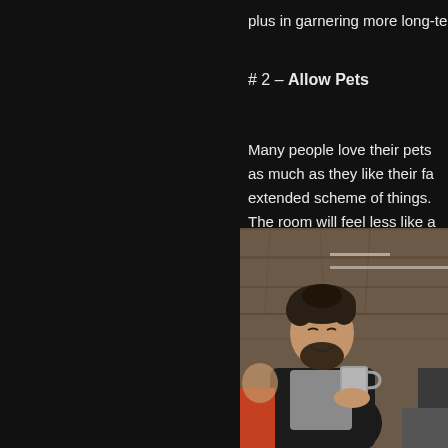plus in garnering more long-term tenants.
# 2 – Allow Pets
Many people love their pets as much as they like their fa extended scheme of things. The room will feel less like a
[Figure (photo): A young man with a beard sitting against a wooden wall, smiling and holding a grey mug, wearing a black jacket over a grey shirt. Another person partially visible on the right.]